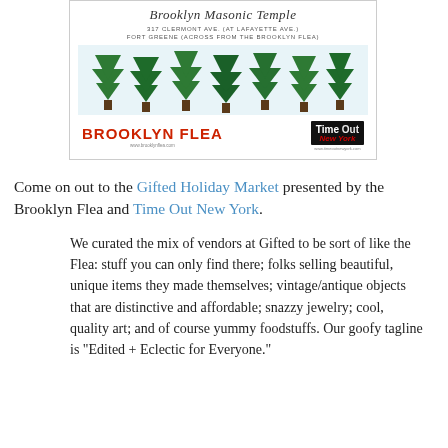[Figure (illustration): Flyer for the Gifted Holiday Market at Brooklyn Masonic Temple, 317 Clermont Ave (at Lafayette Ave), Fort Greene (across from the Brooklyn Flea). Features illustrated green pine trees row, Brooklyn Flea logo in red bold text, Time Out New York badge logo.]
Come on out to the Gifted Holiday Market presented by the Brooklyn Flea and Time Out New York.
We curated the mix of vendors at Gifted to be sort of like the Flea: stuff you can only find there; folks selling beautiful, unique items they made themselves; vintage/antique objects that are distinctive and affordable; snazzy jewelry; cool, quality art; and of course yummy foodstuffs. Our goofy tagline is "Edited + Eclectic for Everyone."